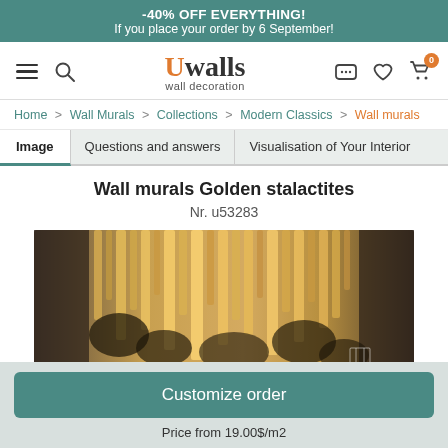-40% OFF EVERYTHING! If you place your order by 6 September!
[Figure (logo): Uwalls wall decoration logo with hamburger menu, search icon, chat, heart, and cart icons]
Home > Wall Murals > Collections > Modern Classics > Wall murals
Image | Questions and answers | Visualisation of Your Interior
Wall murals Golden stalactites
Nr. u53283
[Figure (photo): Photo of Wall murals Golden stalactites showing golden and dark textured stalactite-like formations]
Customize order
Price from 19.00$/m2